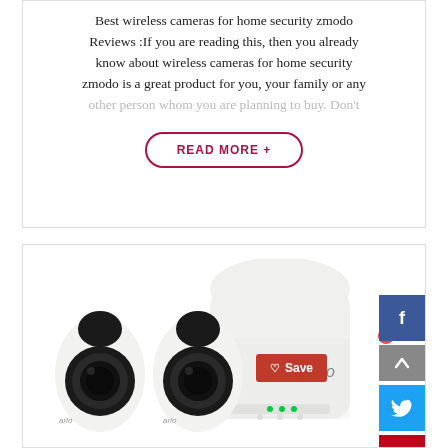Best wireless cameras for home security zmodo Reviews :If you are reading this, then you already know about wireless cameras for home security zmodo is a great product for you, your family or any other person whom you are planning to buy. Don't
READ MORE +
[Figure (photo): Arlo Pro security camera system product image showing two white oval security cameras with black lenses on the left and a white Arlo base station on the right. A red 'Save' button with a heart icon is overlaid. Social media share buttons (Facebook, Twitter, Pinterest) and a scroll-to-top button are on the right edge.]